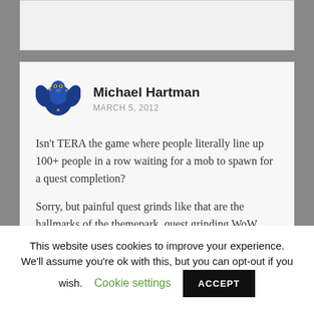[Figure (other): Top grey/white box area, partial view of content above]
[Figure (illustration): Blue dragon/creature avatar icon for user Michael Hartman]
Michael Hartman
MARCH 5, 2012
Isn't TERA the game where people literally line up 100+ people in a row waiting for a mob to spawn for a quest completion?
Sorry, but painful quest grinds like that are the hallmarks of the themepark, quest grinding WoW generation.
This website uses cookies to improve your experience. We'll assume you're ok with this, but you can opt-out if you wish.
Cookie settings
ACCEPT